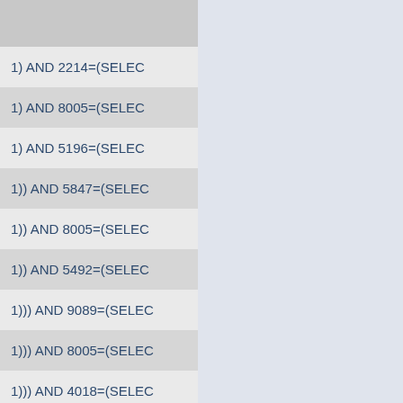| Query |
| --- |
| 1) AND 2214=(SELEC |
| 1) AND 8005=(SELEC |
| 1) AND 5196=(SELEC |
| 1)) AND 5847=(SELEC |
| 1)) AND 8005=(SELEC |
| 1)) AND 5492=(SELEC |
| 1))) AND 9089=(SELEC |
| 1))) AND 8005=(SELEC |
| 1))) AND 4018=(SELEC |